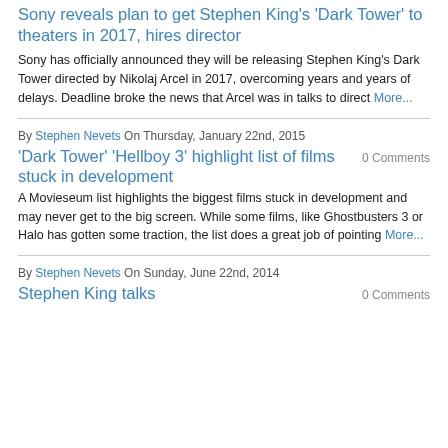Sony reveals plan to get Stephen King's 'Dark Tower' to theaters in 2017, hires director
Sony has officially announced they will be releasing Stephen King's Dark Tower directed by Nikolaj Arcel in 2017, overcoming years and years of delays. Deadline broke the news that Arcel was in talks to direct More...
By Stephen Nevets On Thursday, January 22nd, 2015
'Dark Tower' 'Hellboy 3' highlight list of films stuck in development
0 Comments
A Movieseum list highlights the biggest films stuck in development and may never get to the big screen. While some films, like Ghostbusters 3 or Halo has gotten some traction, the list does a great job of pointing More...
By Stephen Nevets On Sunday, June 22nd, 2014
Stephen King talks
0 Comments